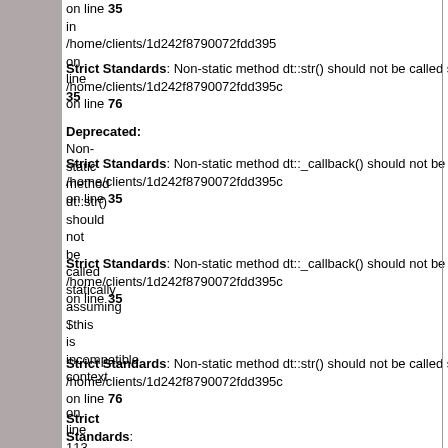on line 35 in /home/clients/1d242f8790072fdd395...
Strict Standards: Non-static method dt::str() should not be called statically in /home/clients/1d242f8790072fdd395c on line 76
Deprecated: Non-static method dt::str() should not be called statically assuming $this is incompatible context
Strict Standards: Non-static method dt::callback() should not be called statically in /home/clients/1d242f8790072fdd395c on line 35
Strict Standards: Non-static method dt::callback() should not be called statically in /home/clients/1d242f8790072fdd395c on line 35
Strict Standards: Non-static method dt::str() should not be called statically in /home/clients/1d242f8790072fdd395c on line 76
Strict Standards: Non-static method dt::str() should not be called statically in /home/clients/1d242f8790072fdd395c on line 113
Strict Standards: Non-static method